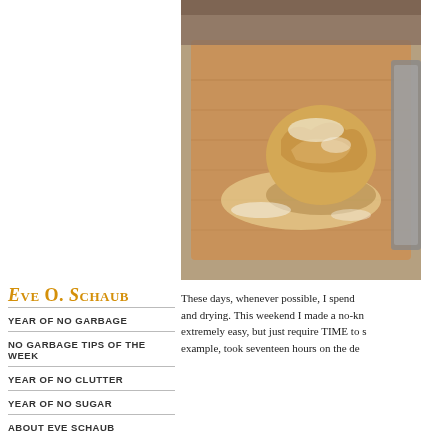[Figure (photo): A ball of bread dough dusted with cornmeal and flour sitting on a wooden cutting board, with a metal pan visible in the background.]
Eve O. Schaub
YEAR OF NO GARBAGE
NO GARBAGE TIPS OF THE WEEK
YEAR OF NO CLUTTER
YEAR OF NO SUGAR
ABOUT EVE SCHAUB
These days, whenever possible, I spend and drying. This weekend I made a no-kn extremely easy, but just require TIME to s example, took seventeen hours on the de